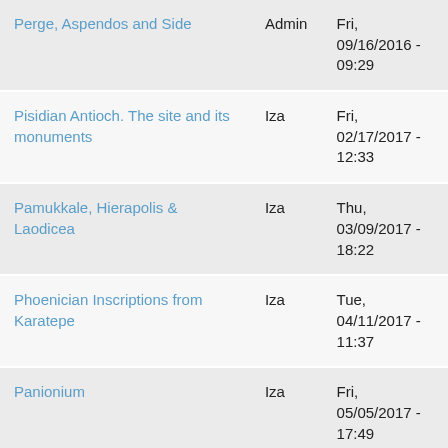| Title | Author | Date |
| --- | --- | --- |
| Perge, Aspendos and Side | Admin | Fri, 09/16/2016 - 09:29 |
| Pisidian Antioch. The site and its monuments | Iza | Fri, 02/17/2017 - 12:33 |
| Pamukkale, Hierapolis & Laodicea | Iza | Thu, 03/09/2017 - 18:22 |
| Phoenician Inscriptions from Karatepe | Iza | Tue, 04/11/2017 - 11:37 |
| Panionium | Iza | Fri, 05/05/2017 - 17:49 |
| Phaselis | michel | Fri, ... |